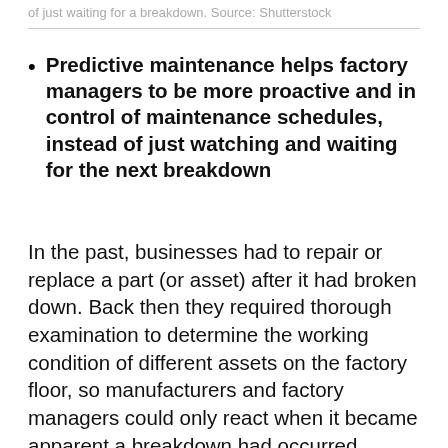of just waiting for a breakdown. Source: Shutterstock
Predictive maintenance helps factory managers to be more proactive and in control of maintenance schedules, instead of just watching and waiting for the next breakdown
In the past, businesses had to repair or replace a part (or asset) after it had broken down. Back then they required thorough examination to determine the working condition of different assets on the factory floor, so manufacturers and factory managers could only react when it became apparent a breakdown had occurred.